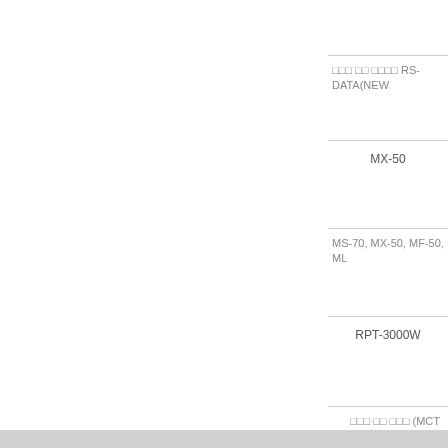□□□ □□ □□□□ RS-DATA(NEW
MX-50
MS-70, MX-50, MF-50, ML
RPT-3000W
□□□ □□ □□□ (MCT Series)